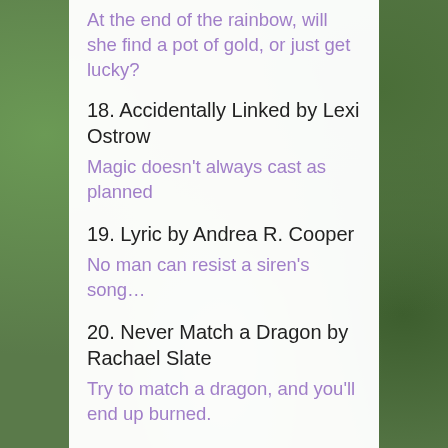At the end of the rainbow, will she find a pot of gold, or just get lucky?
18. Accidentally Linked by Lexi Ostrow
Magic doesn't always cast as planned
19. Lyric by Andrea R. Cooper
No man can resist a siren's song…
20. Never Match a Dragon by Rachael Slate
Try to match a dragon, and you'll end up burned.
21. Beyond the Ashes by Kaiden Klein
When darkness owns your soul, you